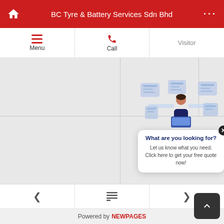BC Tyre & Battery Services Sdn Bhd
Menu | Call | Visitor
[Figure (screenshot): Empty grid content area with light gray background, divided into cells by thin lines]
[Figure (illustration): Chatbot popup with person at laptop surrounded by floating UI elements. Text: What are you looking for? Let us know what you need. Click here to get your free quote now!]
Powered by NEWPAGES